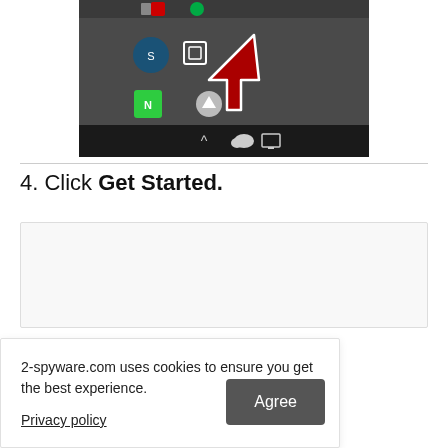[Figure (screenshot): Windows system tray showing icons including Steam, NVIDIA, and other system icons with a large red arrow pointing to an icon in the tray area.]
4. Click Get Started.
[Figure (screenshot): A mostly white/blank screenshot area showing a dialog or application window.]
2-spyware.com uses cookies to ensure you get the best experience.
Privacy policy
Agree